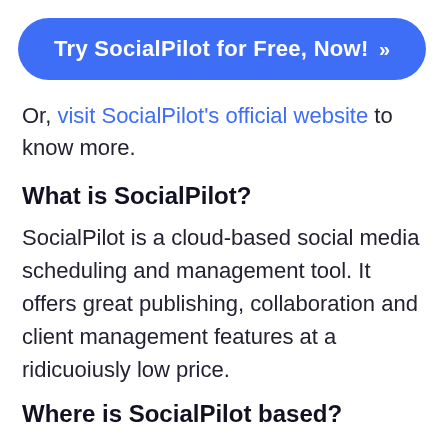[Figure (other): Blue rounded button with white text: 'Try SocialPilot for Free, Now! >>']
Or, visit SocialPilot's official website to know more.
What is SocialPilot?
SocialPilot is a cloud-based social media scheduling and management tool. It offers great publishing, collaboration and client management features at a ridicuoiusly low price.
Where is SocialPilot based?